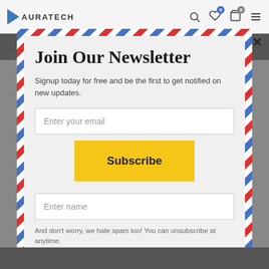AURATECH
Join Our Newsletter
Signup today for free and be the first to get notified on new updates.
Enter your email
Subscribe
Enter name
And don't worry, we hate spam too! You can unsubscribe at anytime.